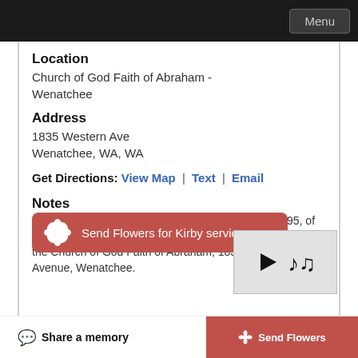Menu
Location
Church of God Faith of Abraham - Wenatchee
Address
1835 Western Ave
Wenatchee, WA, WA
Get Directions: View Map | Text | Email
Notes
A Funeral Service will be held for Kirby Neal Davis, 95, of Wenatchee, WA, on Sunday, May 22, 2022, at 3:00 pm at the Church of God Faith of Abraham, 1835 N Western Avenue, Wenatchee.
Send Flowers for Kirby service
Share a memory | Send Flowers